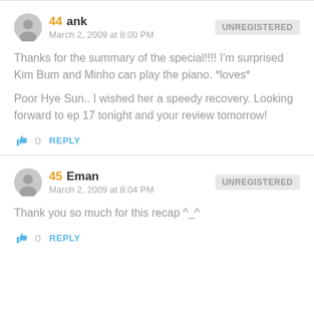44 ank — March 2, 2009 at 8:00 PM — UNREGISTERED
Thanks for the summary of the special!!!! I'm surprised Kim Bum and Minho can play the piano. *loves*
Poor Hye Sun.. I wished her a speedy recovery. Looking forward to ep 17 tonight and your review tomorrow!
0 REPLY
45 Eman — March 2, 2009 at 8:04 PM — UNREGISTERED
Thank you so much for this recap ^_^
0 REPLY